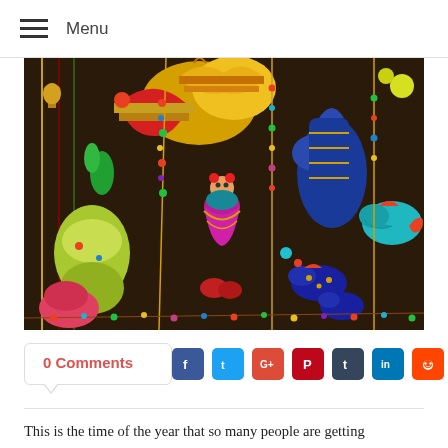Menu
[Figure (photo): Colorful traditional Indian decorative items — hanging puppets, ornamental dolls, beaded strings, felt birds, and painted gourds in vibrant reds, blues, greens, yellows, and pinks displayed at a market.]
0 Comments
This is the time of the year that so many people are getting